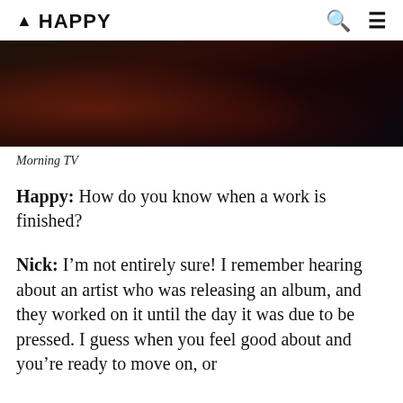▲ HAPPY
[Figure (photo): Dark moody photo of a stage or road at night with reddish ambient lighting]
Morning TV
Happy: How do you know when a work is finished?
Nick: I'm not entirely sure! I remember hearing about an artist who was releasing an album, and they worked on it until the day it was due to be pressed. I guess when you feel good about and you're ready to move on, or